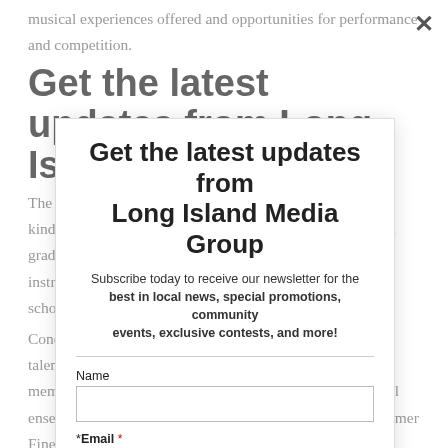musical experiences offered and opportunities for performance and competition.
Get the latest updates from Long Island Media Group
The district offers general music instruction beginning in kindergarten and students learn to play the recorder in third grade. Upon entering fourth grade, children can select an instrument to play in the band or orchestra through high school, and also join the chorus.
Subscribe today to receive our newsletter for the best in local news, special promotions, community events, exclusive contests, and more!
Concerts throughout the year allow students to share their talents with their classmates, families and community members. Extracurricular opportunities include after-school ensembles and various musical productions, while the Summer Fine Arts program allows for year-round music instruction.
Name
*Email *